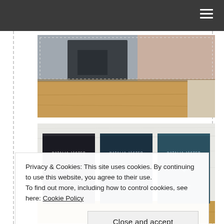[Figure (photo): A large book or print lying on a wooden table, showing an image of a figure in dark clothes]
[Figure (photo): Three books by Natalia Jaster standing against a white textured background, with dark and teal covers showing the author name 'NATALIA JASTER']
Privacy & Cookies: This site uses cookies. By continuing to use this website, you agree to their use.
To find out more, including how to control cookies, see here: Cookie Policy
Close and accept